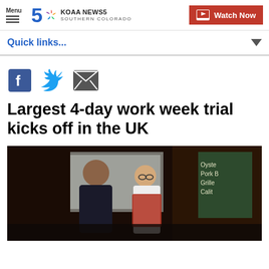Menu | KOAA NEWS5 SOUTHERN COLORADO | Watch Now
Quick links...
[Figure (other): Social media share icons: Facebook, Twitter, Email]
Largest 4-day work week trial kicks off in the UK
[Figure (photo): Two people in a restaurant kitchen, one wearing a red apron, with a chalkboard menu visible in the background]